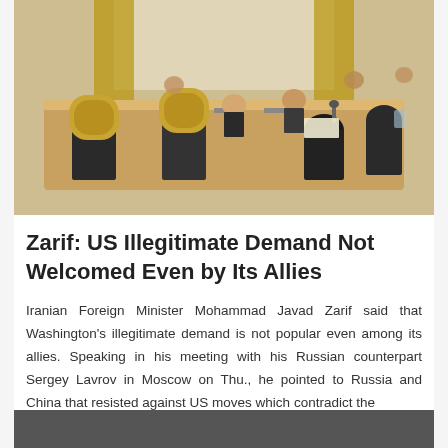[Figure (photo): Diplomatic meeting scene: officials in dark suits seated around a large conference table in an ornate room with gold curtains, some wearing masks, appearing to be a formal diplomatic meeting.]
Zarif: US Illegitimate Demand Not Welcomed Even by Its Allies
Iranian Foreign Minister Mohammad Javad Zarif said that Washington's illegitimate demand is not popular even among its allies. Speaking in his meeting with his Russian counterpart Sergey Lavrov in Moscow on Thu., he pointed to Russia and China that resisted against US moves which contradict the
September 25, 2020